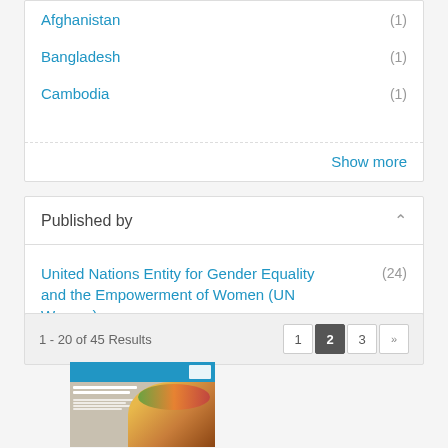Afghanistan (1)
Bangladesh (1)
Cambodia (1)
Show more
Published by
United Nations Entity for Gender Equality and the Empowerment of Women (UN Women) (24)
1 - 20 of 45 Results
[Figure (screenshot): Thumbnail cover image of a UN Women publication showing a woman wearing a colorful headwrap, with a blue header bar and text overlay.]